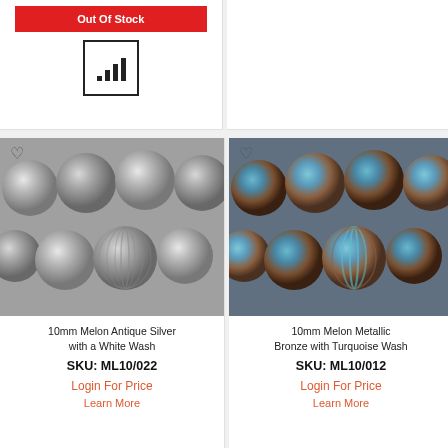Out Of Stock
[Figure (other): Bar chart icon in a square border box]
[Figure (photo): 10mm Melon Antique Silver with a White Wash beads - silver ribbed round beads clustered together]
10mm Melon Antique Silver with a White Wash
SKU: ML10/022
Login For Price
Learn More
[Figure (photo): 10mm Melon Metallic Bronze with Turquoise Wash beads - teal/bronze striped round beads clustered together]
10mm Melon Metallic Bronze with Turquoise Wash
SKU: ML10/012
Login For Price
Learn More